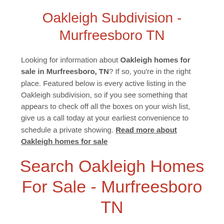Oakleigh Subdivision - Murfreesboro TN
Looking for information about Oakleigh homes for sale in Murfreesboro, TN? If so, you're in the right place. Featured below is every active listing in the Oakleigh subdivision, so if you see something that appears to check off all the boxes on your wish list, give us a call today at your earliest convenience to schedule a private showing. Read more about Oakleigh homes for sale
Search Oakleigh Homes For Sale - Murfreesboro TN
| All Listings | Over $1,000,000 |
| --- | --- |